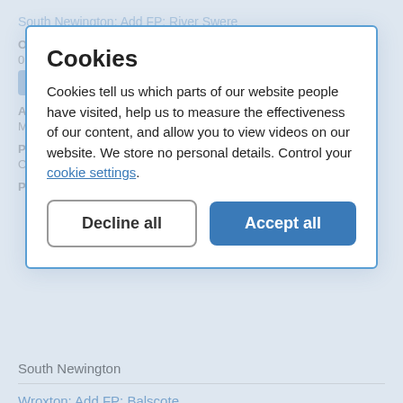South Newington: Add FP: River Swere
Our reference:
01935
Applicant name(s):
Mrs C Coles, 55 Gillett Road, Banbury, Oxon, OX16 0ER
Postcode(s):
OX15 4JQ
Parish:
South Newington
Wroxton: Add FP: Balscote
Our reference:
03068
Applicant name(s):
[Figure (screenshot): Cookie consent modal dialog with title 'Cookies', description text about cookies, a 'Decline all' button and 'Accept all' button in blue]